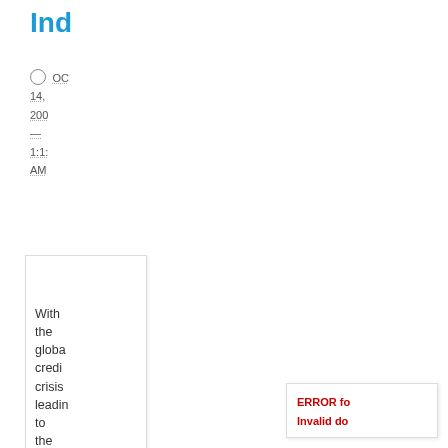In[...] (India real estate market)
OCT 14, 200[8] — 1:1[...] AM
With the global credit crisis leading to the worst slowdown in the India real estate market in recent times